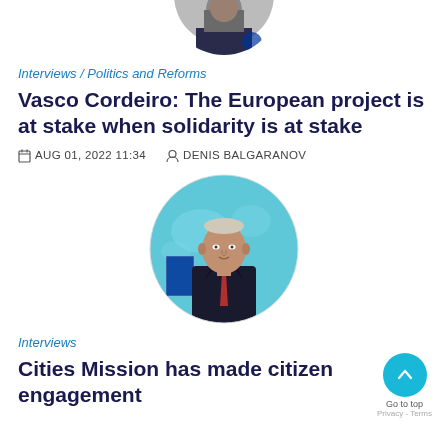[Figure (photo): Partial circular cropped photo of a person at the top of the page, partially cut off]
Interviews / Politics and Reforms
Vasco Cordeiro: The European project is at stake when solidarity is at stake
AUG 01, 2022 11:34   DENIS BALGARANOV
[Figure (photo): Circular cropped photo of a man in a dark suit with a red tie, standing in front of a world map and EU flag]
Interviews
Cities Mission has made citizen engagement